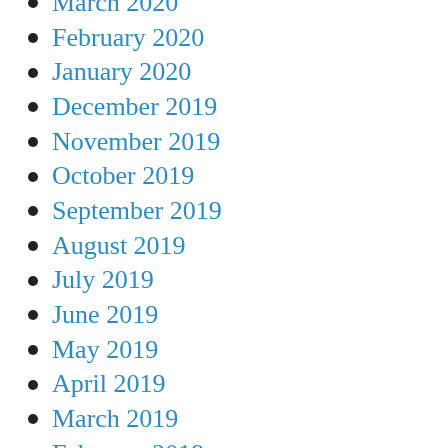March 2020
February 2020
January 2020
December 2019
November 2019
October 2019
September 2019
August 2019
July 2019
June 2019
May 2019
April 2019
March 2019
February 2019
December 2018
November 2018